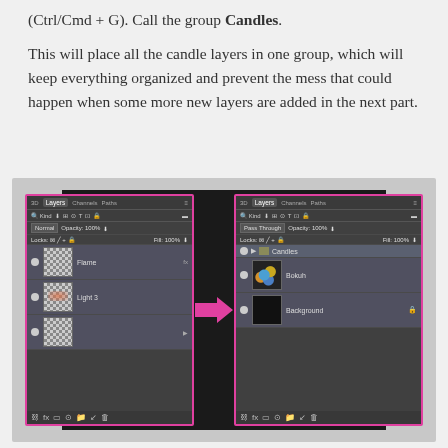(Ctrl/Cmd + G). Call the group Candles. This will place all the candle layers in one group, which will keep everything organized and prevent the mess that could happen when some more new layers are added in the next part.
[Figure (screenshot): Two side-by-side Photoshop Layers panel screenshots showing before and after grouping layers. Left panel shows Normal blending mode with layers: Flame (fx), Light 3, and a third layer. Right panel shows Pass Through blending mode with Candles group containing Bokeh and Background layers. A pink arrow points from left to right panel.]